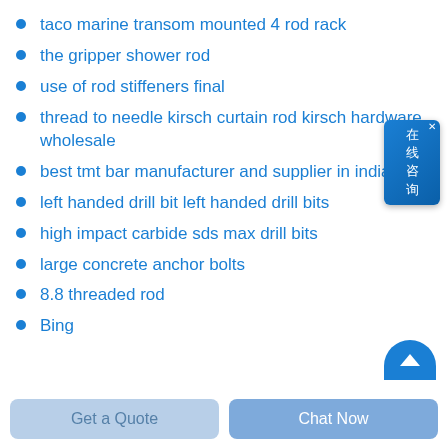taco marine transom mounted 4 rod rack
the gripper shower rod
use of rod stiffeners final
thread to needle kirsch curtain rod kirsch hardware wholesale
best tmt bar manufacturer and supplier in india
left handed drill bit left handed drill bits
high impact carbide sds max drill bits
large concrete anchor bolts
8.8 threaded rod
Bing